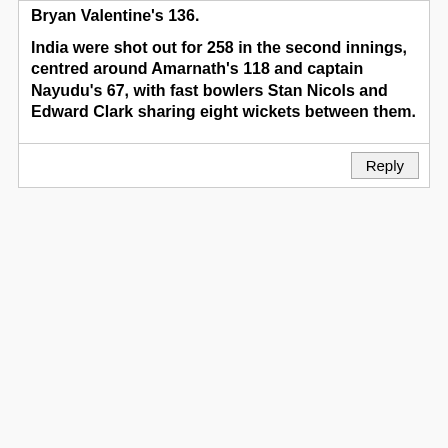Bryan Valentine's 136.
India were shot out for 258 in the second innings, centred around Amarnath's 118 and captain Nayudu's 67, with fast bowlers Stan Nicols and Edward Clark sharing eight wickets between them.